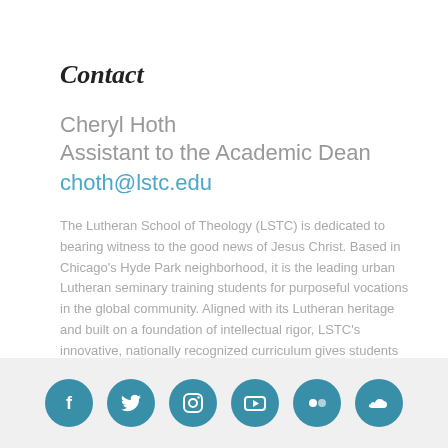Contact
Cheryl Hoth
Assistant to the Academic Dean
choth@lstc.edu
The Lutheran School of Theology (LSTC) is dedicated to bearing witness to the good news of Jesus Christ. Based in Chicago's Hyde Park neighborhood, it is the leading urban Lutheran seminary training students for purposeful vocations in the global community. Aligned with its Lutheran heritage and built on a foundation of intellectual rigor, LSTC's innovative, nationally recognized curriculum gives students skills for visionary Christian leadership in the public sphere.
[Figure (infographic): Row of six circular social media icons (Facebook, Twitter, Instagram, YouTube, Flickr, SoundCloud) in teal/dark cyan color on a light gray footer bar]